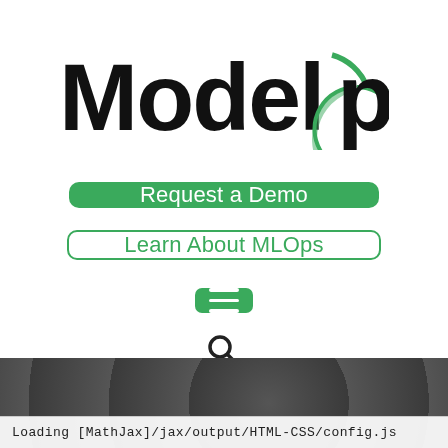[Figure (logo): ModelOp logo with black text 'Model' and stylized green 'Op' with circular lines]
[Figure (other): Green rounded rectangle button with white text 'Request a Demo']
[Figure (other): White rounded rectangle button with green border and green text 'Learn About MLOps']
[Figure (other): Green square hamburger menu icon with three white horizontal lines]
[Figure (other): Search magnifying glass icon]
[Figure (other): Dark gray textured background area]
Loading [MathJax]/jax/output/HTML-CSS/config.js